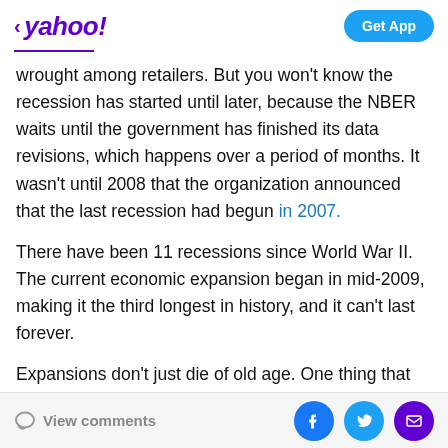< yahoo! | Get App
wrought among retailers. But you won't know the recession has started until later, because the NBER waits until the government has finished its data revisions, which happens over a period of months. It wasn't until 2008 that the organization announced that the last recession had begun in 2007.
There have been 11 recessions since World War II. The current economic expansion began in mid-2009, making it the third longest in history, and it can't last forever.
Expansions don't just die of old age. One thing that can trigger recessions is the Federal Reserve hiking interest rates to quell inflation. The Federal Reserve is currently
View comments